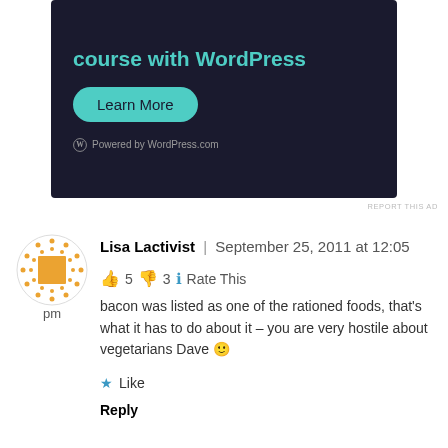[Figure (screenshot): Dark-themed WordPress.com advertisement banner showing 'course with WordPress' text in teal, a 'Learn More' button, and 'Powered by WordPress.com' footer]
REPORT THIS AD
Lisa Lactivist | September 25, 2011 at 12:05 pm
👍 5 👎 3 ℹ Rate This
bacon was listed as one of the rationed foods, that's what it has to do about it – you are very hostile about vegetarians Dave 🙂
★ Like
Reply